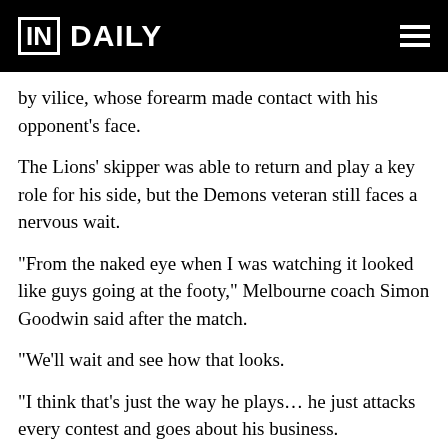IN DAILY
by vilice, whose forearm made contact with his opponent's face.
The Lions' skipper was able to return and play a key role for his side, but the Demons veteran still faces a nervous wait.
“From the naked eye when I was watching it looked like guys going at the footy,” Melbourne coach Simon Goodwin said after the match.
“We’ll wait and see how that looks.
“I think that’s just the way he plays… he just attacks every contest and goes about his business.
“He plays the game in a physical way, he attacks the contest, he goes when it’s his turn and every now and then he’s